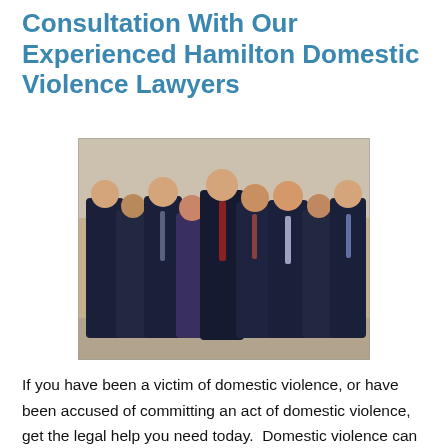Consultation With Our Experienced Hamilton Domestic Violence Lawyers
[Figure (photo): Group photo of approximately nine lawyers in dark suits posing outdoors in front of a brick building wall.]
If you have been a victim of domestic violence, or have been accused of committing an act of domestic violence, get the legal help you need today.  Domestic violence can dramatically impact the lives of everyone involved.  The first